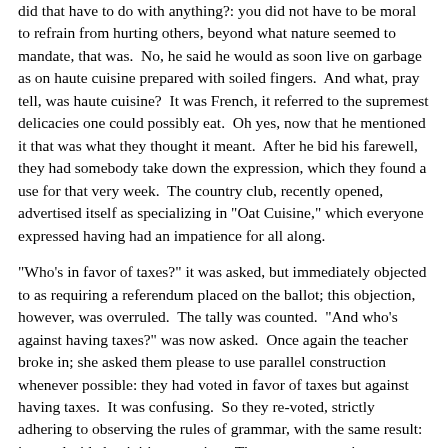did that have to do with anything?: you did not have to be moral to refrain from hurting others, beyond what nature seemed to mandate, that was.  No, he said he would as soon live on garbage as on haute cuisine prepared with soiled fingers.  And what, pray tell, was haute cuisine?  It was French, it referred to the supremest delicacies one could possibly eat.  Oh yes, now that he mentioned it that was what they thought it meant.  After he bid his farewell, they had somebody take down the expression, which they found a use for that very week.  The country club, recently opened, advertised itself as specializing in "Oat Cuisine," which everyone expressed having had an impatience for all along.
"Who's in favor of taxes?" it was asked, but immediately objected to as requiring a referendum placed on the ballot; this objection, however, was overruled.  The tally was counted.  "And who's against having taxes?" was now asked.  Once again the teacher broke in; she asked them please to use parallel construction whenever possible: they had voted in favor of taxes but against having taxes.  It was confusing.  So they re-voted, strictly adhering to observing the rules of grammar, with the same result: it was decided to initiate taxation.  The vote was unanimous, even the opponents at the last minute rallying behind their community's interest.
Everyone was stunned when the stranger arose to address the PTA.  He had not been officially asked to do so as yet, but it was